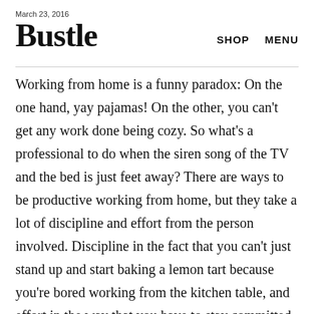March 23, 2016
Bustle
Working from home is a funny paradox: On the one hand, yay pajamas! On the other, you can't get any work done being cozy. So what's a professional to do when the siren song of the TV and the bed is just feet away? There are ways to be productive working from home, but they take a lot of discipline and effort from the person involved. Discipline in the fact that you can't just stand up and start baking a lemon tart because you're bored working from the kitchen table, and effort in the way that you have to stay committed to acting like a professional in an office even if your dog is acting super cute by your knee.